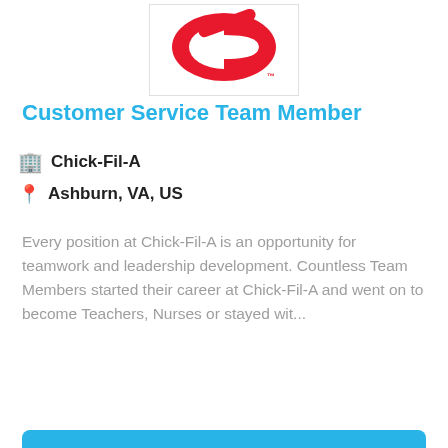[Figure (logo): Chick-Fil-A logo — red stylized C shape with trademark symbol on white background]
Customer Service Team Member
🏢 Chick-Fil-A
📍 Ashburn, VA, US
Every position at Chick-Fil-A is an opportunity for teamwork and leadership development. Countless Team Members started their career at Chick-Fil-A and went on to become Teachers, Nurses or stayed wit...
More Details
Sponsored
[Figure (logo): Hand cursor / pointer icon — outline of hand with pointing finger and sparkle lines, dark teal color on white background]